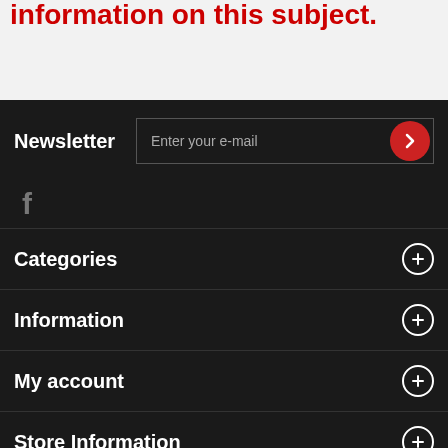information on this subject.
Newsletter
Enter your e-mail
[Figure (logo): Facebook icon (f) in grey]
Categories
Information
My account
Store Information